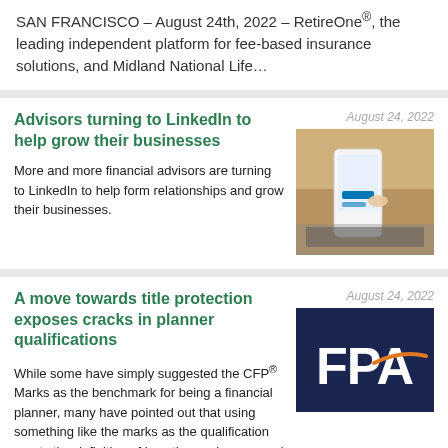SAN FRANCISCO – August 24th, 2022 – RetireOne®, the leading independent platform for fee-based insurance solutions, and Midland National Life…
Advisors turning to LinkedIn to help grow their businesses
August 24, 2022
More and more financial advisors are turning to LinkedIn to help form relationships and grow their businesses.
[Figure (photo): Hand holding a smartphone near a laptop, showing LinkedIn interface]
A move towards title protection exposes cracks in planner qualifications
August 24, 2022
While some have simply suggested the CFP® Marks as the benchmark for being a financial planner, many have pointed out that using something like the marks as the qualification meets the definition of how the marks are used for title…
[Figure (logo): FPA logo on dark navy blue background with orange accent mark]